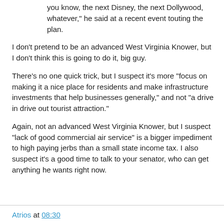you know, the next Disney, the next Dollywood, whatever," he said at a recent event touting the plan.
I don't pretend to be an advanced West Virginia Knower, but I don't think this is going to do it, big guy.
There's no one quick trick, but I suspect it's more "focus on making it a nice place for residents and make infrastructure investments that help businesses generally," and not "a drive in drive out tourist attraction."
Again, not an advanced West Virginia Knower, but I suspect "lack of good commercial air service" is a bigger impediment to high paying jerbs than a small state income tax. I also suspect it's a good time to talk to your senator, who can get anything he wants right now.
Atrios at 08:30